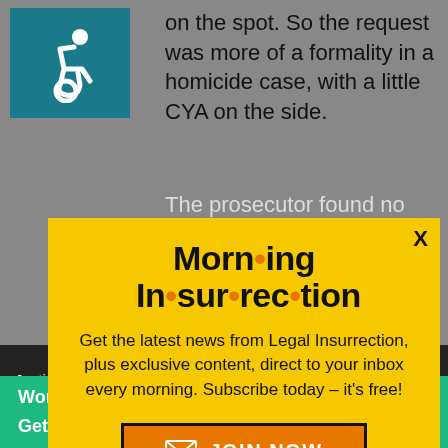[Figure (screenshot): Wheelchair accessibility icon on teal background]
on the spot. So the request was more of a formality in a homicide case, with a little CYA on the side.
The prosecutor found no probable
[Figure (infographic): Morning Insurrection newsletter signup modal with yellow background, orange dots in title, subscription text, and JOIN NOW button]
Justice doesn't owe the mob any special
[Figure (infographic): Fiverr advertisement banner: Working from home? Get your projects done on fiverr]